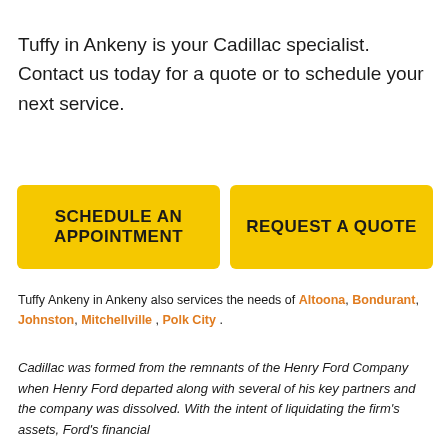Tuffy in Ankeny is your Cadillac specialist. Contact us today for a quote or to schedule your next service.
[Figure (other): Two yellow call-to-action buttons: 'SCHEDULE AN APPOINTMENT' and 'REQUEST A QUOTE']
Tuffy Ankeny in Ankeny also services the needs of Altoona, Bondurant, Johnston, Mitchellville , Polk City .
Cadillac was formed from the remnants of the Henry Ford Company when Henry Ford departed along with several of his key partners and the company was dissolved. With the intent of liquidating the firm's assets, Ford's financial